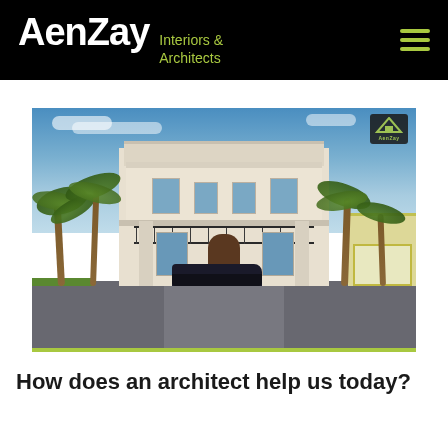AenZay Interiors & Architects
[Figure (illustration): Architectural 3D rendering of a classical two-story villa with white facade, palm trees on both sides, ornate balcony railing, columns, arched door, and a garage visible on the right side. AenZay watermark logo visible in top-right corner of image.]
How does an architect help us today?